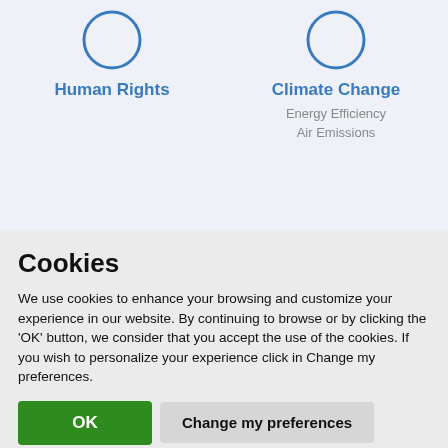[Figure (illustration): Partial circular icon/graphic for Human Rights category, top of left column]
Human Rights
[Figure (illustration): Partial circular icon/graphic for Climate Change category, top of right column]
Climate Change
Energy Efficiency
Air Emissions
Cookies
We use cookies to enhance your browsing and customize your experience in our website. By continuing to browse or by clicking the ‘OK’ button, we consider that you accept the use of the cookies. If you wish to personalize your experience click in Change my preferences.
OK
Change my preferences